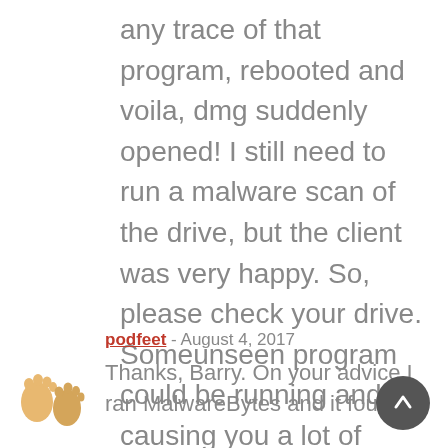any trace of that program, rebooted and voila, dmg suddenly opened! I still need to run a malware scan of the drive, but the client was very happy. So, please check your drive. Someunseen program could be running and causing you a lot of grief,
podfeet - August 4, 2017
Thanks, Barry. On your advice I ran MalwareBytes and it found